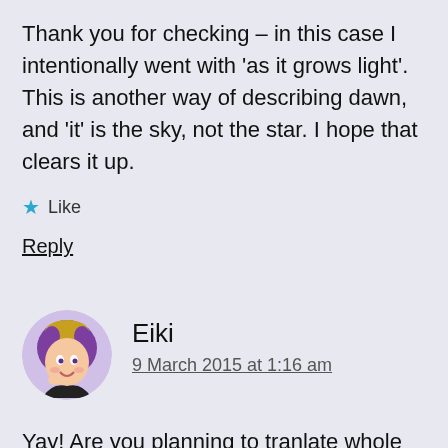Thank you for checking – in this case I intentionally went with 'as it grows light'. This is another way of describing dawn, and 'it' is the sky, not the star. I hope that clears it up.
★ Like
Reply
Eiki
9 March 2015 at 1:16 am
Yay! Are you planning to tranlate whole